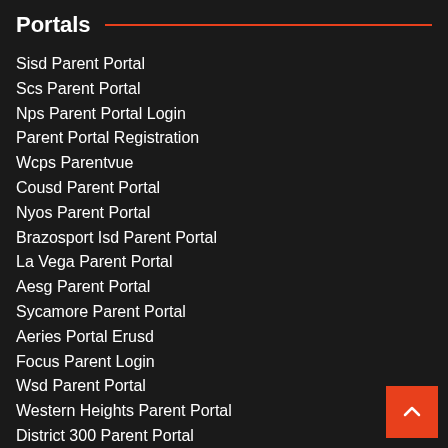Portals
Sisd Parent Portal
Scs Parent Portal
Nps Parent Portal Login
Parent Portal Registration
Wcps Parentvue
Cousd Parent Portal
Nyos Parent Portal
Brazosport Isd Parent Portal
La Vega Parent Portal
Aesg Parent Portal
Sycamore Parent Portal
Aeries Portal Erusd
Focus Parent Login
Wsd Parent Portal
Western Heights Parent Portal
District 300 Parent Portal